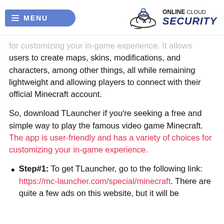MENU | ONLINE CLOUD SECURITY
for customizing your in-game experience. It allows users to create maps, skins, modifications, and characters, among other things, all while remaining lightweight and allowing players to connect with their official Minecraft account.
So, download TLauncher if you're seeking a free and simple way to play the famous video game Minecraft. The app is user-friendly and has a variety of choices for customizing your in-game experience.
Step#1: To get TLauncher, go to the following link: https://mc-launcher.com/special/minecraft. There are quite a few ads on this website, but it will be